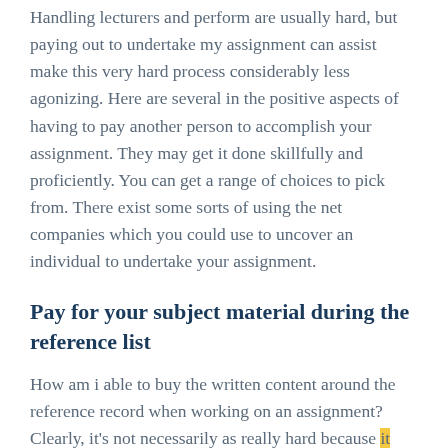Handling lecturers and perform are usually hard, but paying out to undertake my assignment can assist make this very hard process considerably less agonizing. Here are several in the positive aspects of having to pay another person to accomplish your assignment. They may get it done skillfully and proficiently. You can get a range of choices to pick from. There exist some sorts of using the net companies which you could use to uncover an individual to undertake your assignment.
Pay for your subject material during the reference list
How am i able to buy the written content around the reference record when working on an assignment? Clearly, it's not necessarily as really hard because it appears to be. Believe it or not, you can easlily buy the written content of one's reference checklist given that